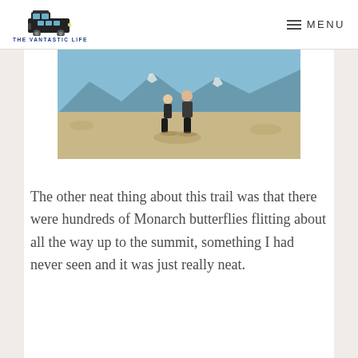THE VANTASTIC LIFE | MENU
[Figure (photo): Two people standing on a mountain summit with rocky terrain, mountains with snow patches, and a blue sky in the background]
The other neat thing about this trail was that there were hundreds of Monarch butterflies flitting about all the way up to the summit, something I had never seen and it was just really neat.